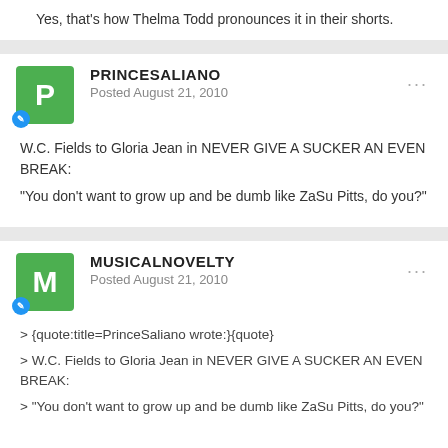Yes, that's how Thelma Todd pronounces it in their shorts.
PRINCESALIANO
Posted August 21, 2010
W.C. Fields to Gloria Jean in NEVER GIVE A SUCKER AN EVEN BREAK:
"You don't want to grow up and be dumb like ZaSu Pitts, do you?"
MUSICALNOVELTY
Posted August 21, 2010
> {quote:title=PrinceSaliano wrote:}{quote}
> W.C. Fields to Gloria Jean in NEVER GIVE A SUCKER AN EVEN BREAK:
> "You don't want to grow up and be dumb like ZaSu Pitts, do you?"